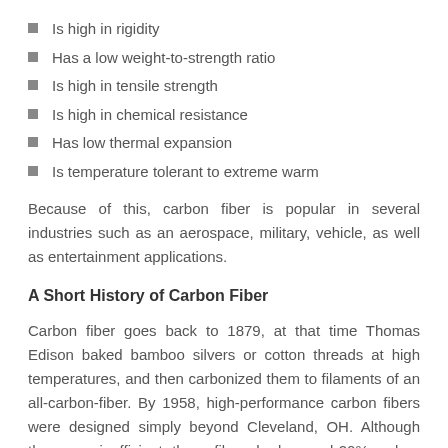Is high in rigidity
Has a low weight-to-strength ratio
Is high in tensile strength
Is high in chemical resistance
Has low thermal expansion
Is temperature tolerant to extreme warm
Because of this, carbon fiber is popular in several industries such as an aerospace, military, vehicle, as well as entertainment applications.
A Short History of Carbon Fiber
Carbon fiber goes back to 1879, at that time Thomas Edison baked bamboo silvers or cotton threads at high temperatures, and then carbonized them to filaments of an all-carbon-fiber. By 1958, high-performance carbon fibers were designed simply beyond Cleveland, OH. Although they were inefficient, these fibers had around 20% carbon and